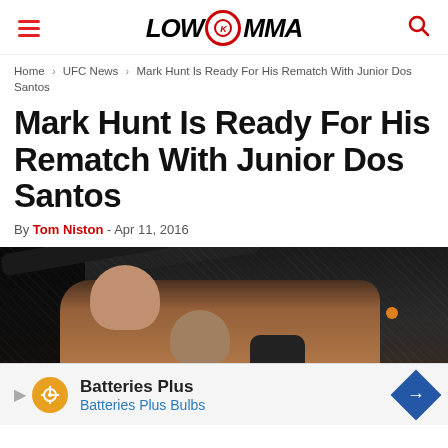LowKickMMA
Home › UFC News › Mark Hunt Is Ready For His Rematch With Junior Dos Santos
Mark Hunt Is Ready For His Rematch With Junior Dos Santos
By Tom Niston - Apr 11, 2016
[Figure (photo): MMA fighters in the octagon/cage during a match, dark arena background]
Batteries Plus
Batteries Plus Bulbs